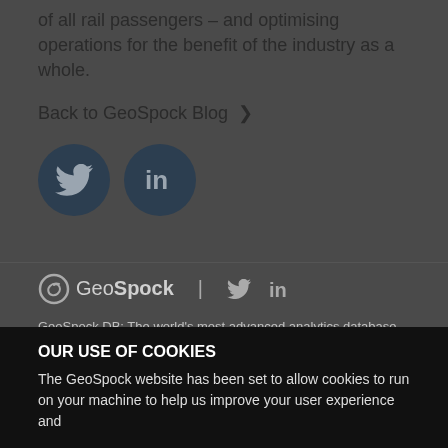of all rail passengers – and optimising operations for the benefit of the industry as a whole.
Back to GeoSpock Blog >
[Figure (logo): Twitter and LinkedIn social share icon buttons (dark navy circles)]
[Figure (logo): GeoSpock logo with Twitter and LinkedIn footer icons]
GeoSpock DB: The world's most advanced analytics database. Simplify real-world complexity and enable contextual understanding for the everything-connected world.
OUR USE OF COOKIES
The GeoSpock website has been set to allow cookies to run on your machine to help us improve your user experience and